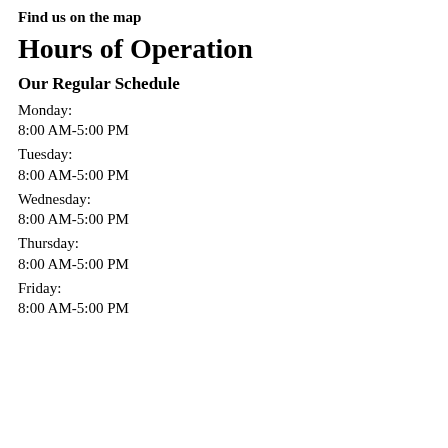Find us on the map
Hours of Operation
Our Regular Schedule
Monday:
8:00 AM-5:00 PM
Tuesday:
8:00 AM-5:00 PM
Wednesday:
8:00 AM-5:00 PM
Thursday:
8:00 AM-5:00 PM
Friday:
8:00 AM-5:00 PM